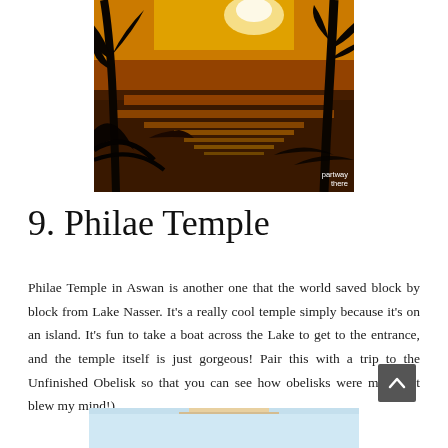[Figure (photo): Sunset photo over water with palm tree silhouettes and golden reflections, watermark 'partway there' in bottom right corner]
9. Philae Temple
Philae Temple in Aswan is another one that the world saved block by block from Lake Nasser. It's a really cool temple simply because it's on an island. It's fun to take a boat across the Lake to get to the entrance, and the temple itself is just gorgeous! Pair this with a trip to the Unfinished Obelisk so that you can see how obelisks were made! (It blew my mind!)
[Figure (photo): Partial view of a light blue and white structure, bottom of page crop]